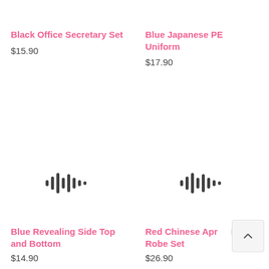Black Office Secretary Set
$15.90
Blue Japanese PE Uniform
$17.90
[Figure (other): Waveform/audio placeholder icon for Blue Revealing Side Top and Bottom product]
Blue Revealing Side Top and Bottom
$14.90
[Figure (other): Waveform/audio placeholder icon for Red Chinese Apron Red Robe Set product]
Red Chinese Apron Red Robe Set
$26.90